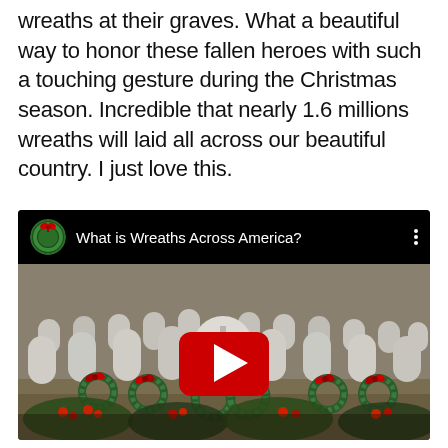wreaths at their graves. What a beautiful way to honor these fallen heroes with such a touching gesture during the Christmas season. Incredible that nearly 1.6 millions wreaths will laid all across our beautiful country. I just love this.
[Figure (screenshot): YouTube video embed showing 'What is Wreaths Across America?' with a thumbnail of a military cemetery with Christmas wreaths laid at grave markers and red bows.]